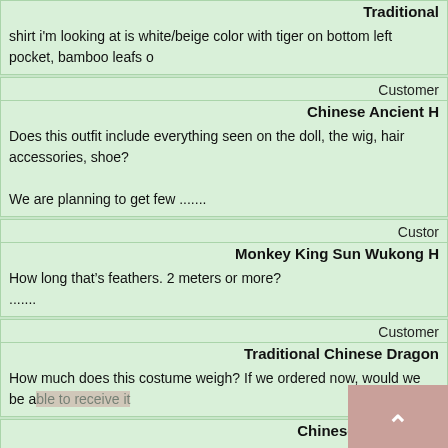Traditional
shirt i'm looking at is white/beige color with tiger on bottom left pocket, bamboo leafs o
Customer
Chinese Ancient H
Does this outfit include everything seen on the doll, the wig, hair accessories, shoe?

We are planning to get few .......
Custo
Monkey King Sun Wukong H
How long that's feathers. 2 meters or more?
.......
Customer
Traditional Chinese Dragon
How much does this costume weigh? If we ordered now, would we be able to receive it
Custome
Chinese Paper Cuts
I like the above paper cut; however, I just want one. Wondering if this is possible and if
C